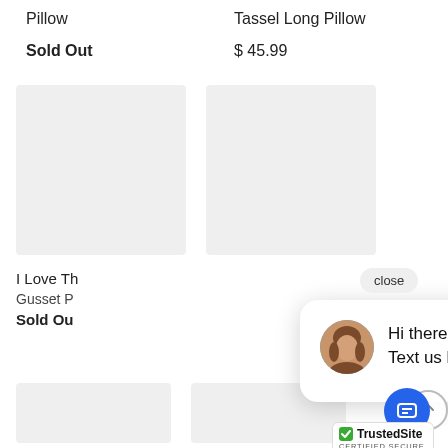Pillow
Sold Out
Tassel Long Pillow
$ 45.99
[Figure (photo): Product image placeholder box (gray rectangle) for Pillow]
[Figure (photo): Product image placeholder box (gray rectangle) for Tassel Long Pillow]
I Love Th
Gusset P
Sold Ou
[Figure (screenshot): Chat popup overlay with avatar photo of a woman and message: Hi there, have a question? Text us here. Close button visible. Blue chat icon circle and TrustedSite badge.]
[Figure (photo): Bottom product image placeholder boxes (gray rectangles)]